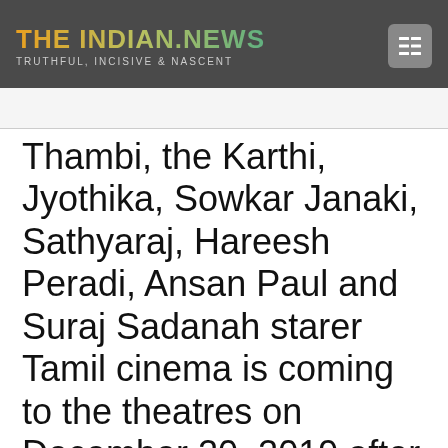THE INDIAN.NEWS — TRUTHFUL, INCISIVE & NASCENT
Thambi, the Karthi, Jyothika, Sowkar Janaki, Sathyaraj, Hareesh Peradi, Ansan Paul and Suraj Sadanah starer Tamil cinema is coming to the theatres on December 20, 2019 after the big hit Kaidi